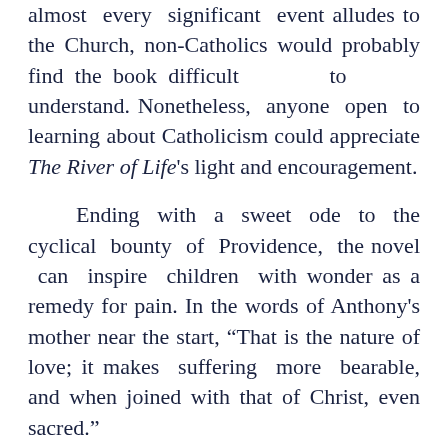almost every significant event alludes to the Church, non-Catholics would probably find the book difficult to understand. Nonetheless, anyone open to learning about Catholicism could appreciate The River of Life's light and encouragement.
Ending with a sweet ode to the cyclical bounty of Providence, the novel can inspire children with wonder as a remedy for pain. In the words of Anthony's mother near the start, “That is the nature of love; it makes suffering more bearable, and when joined with that of Christ, even sacred.”